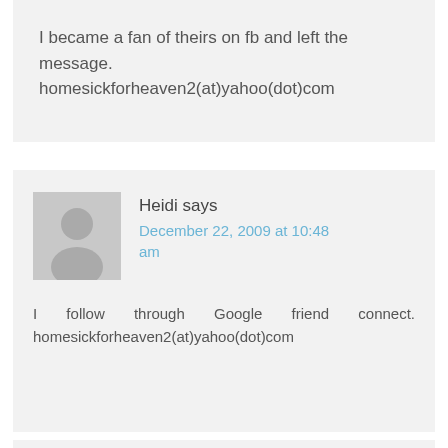I became a fan of theirs on fb and left the message. homesickforheaven2(at)yahoo(dot)com
Heidi says
December 22, 2009 at 10:48 am
I follow through Google friend connect. homesickforheaven2(at)yahoo(dot)com